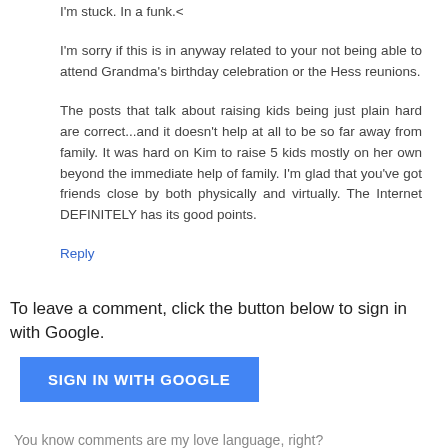I'm stuck. In a funk.<
I'm sorry if this is in anyway related to your not being able to attend Grandma's birthday celebration or the Hess reunions.
The posts that talk about raising kids being just plain hard are correct...and it doesn't help at all to be so far away from family. It was hard on Kim to raise 5 kids mostly on her own beyond the immediate help of family. I'm glad that you've got friends close by both physically and virtually. The Internet DEFINITELY has its good points.
Reply
To leave a comment, click the button below to sign in with Google.
[Figure (other): Blue 'SIGN IN WITH GOOGLE' button]
You know comments are my love language, right?